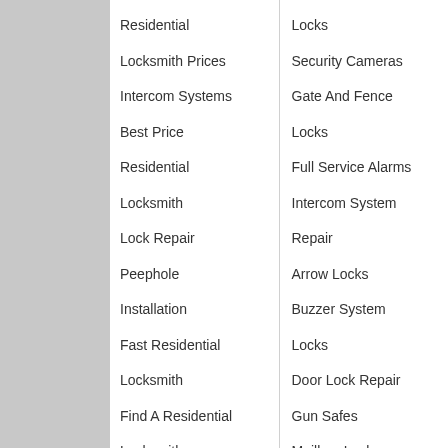Residential
Locksmith Prices
Intercom Systems
Best Price
Residential
Locksmith
Lock Repair
Peephole
Installation
Fast Residential
Locksmith
Find A Residential
Locksmith
Keys Made
Residential
Locks
Security Cameras
Gate And Fence
Locks
Full Service Alarms
Intercom System
Repair
Arrow Locks
Buzzer System
Locks
Door Lock Repair
Gun Safes
Mailbox Locks
Medeco Locks
Deadbolt Rekey